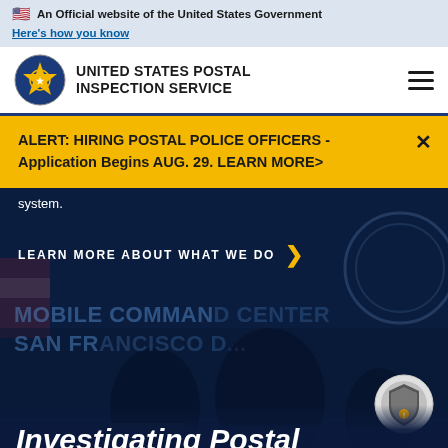🇺🇸 An Official website of the United States Government
Here's how you know
[Figure (logo): United States Postal Inspection Service logo - circular eagle badge]
UNITED STATES POSTAL INSPECTION SERVICE
ALERT: HIRING POSTAL POLICE OFFICERS - Application Begins AUG. 29. LEARN MORE>
system.
LEARN MORE ABOUT WHAT WE DO
[Figure (photo): Dark background photo showing law enforcement officers near a Mobile Command Center van labeled 'SAN FRANCISCO D...' with partial USPS Inspection Service badge visible]
Investigating Postal